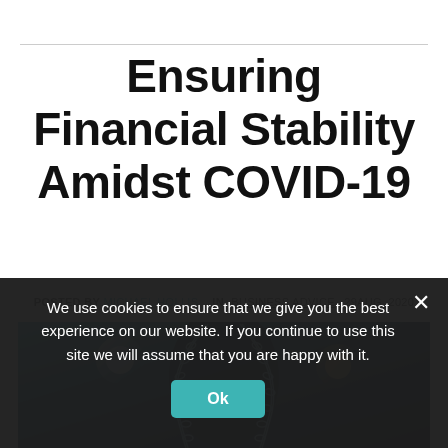Ensuring Financial Stability Amidst COVID-19
POSTED BY MICHAEL HOLLIS  IN BUSINESS ADVICE  29AUG, 2020
[Figure (photo): Photo of scales of justice chain detail against blue background, partially visible]
We use cookies to ensure that we give you the best experience on our website. If you continue to use this site we will assume that you are happy with it.